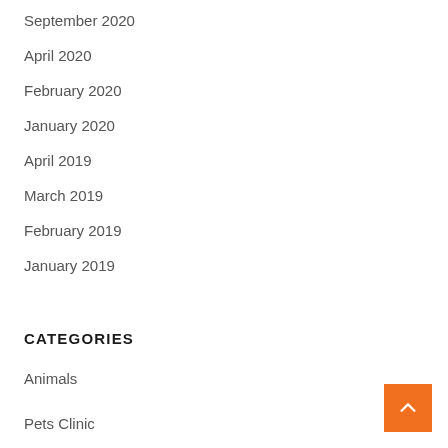September 2020
April 2020
February 2020
January 2020
April 2019
March 2019
February 2019
January 2019
CATEGORIES
Animals
Pets Clinic